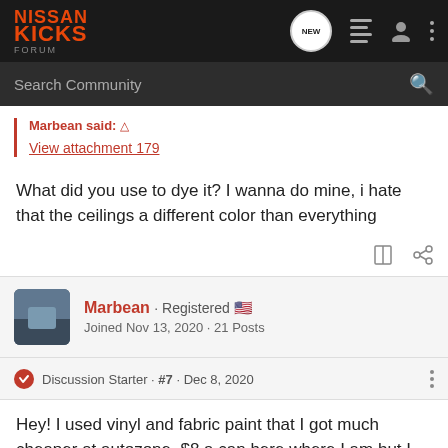NISSAN KICKS FORUM
Search Community
Marbean said: ↑
View attachment 179
What did you use to dye it? I wanna do mine, i hate that the ceilings a different color than everything
Marbean · Registered 🇺🇸
Joined Nov 13, 2020 · 21 Posts
Discussion Starter · #7 · Dec 8, 2020
Hey! I used vinyl and fabric paint that I got much cheaper at autozone. $8 a can here where I am but I left an Amazon link